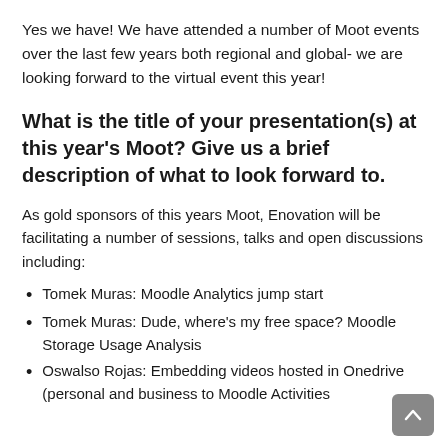Yes we have! We have attended a number of Moot events over the last few years both regional and global- we are looking forward to the virtual event this year!
What is the title of your presentation(s) at this year's Moot? Give us a brief description of what to look forward to.
As gold sponsors of this years Moot, Enovation will be facilitating a number of sessions, talks and open discussions including:
Tomek Muras: Moodle Analytics jump start
Tomek Muras: Dude, where's my free space? Moodle Storage Usage Analysis
Oswalso Rojas: Embedding videos hosted in Onedrive (personal and business to Moodle Activities